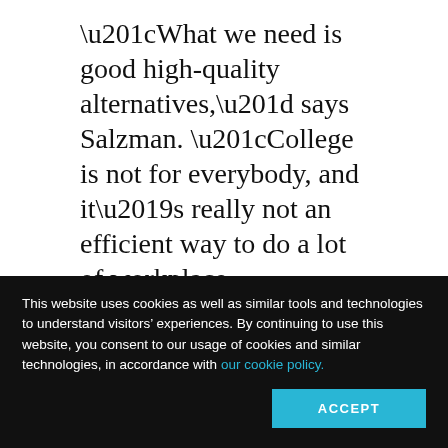“What we need is good high-quality alternatives,” says Salzman. “College is not for everybody, and it’s really not an efficient way to do a lot of workplace preparation, if that’s our goal. Workforce training has not traditionally been the mission of the college, and we haven’t done a good job of pushing back on this.”
Yet employers, he says, have come to demand it.
This website uses cookies as well as similar tools and technologies to understand visitors’ experiences. By continuing to use this website, you consent to our usage of cookies and similar technologies, in accordance with our cookie policy.